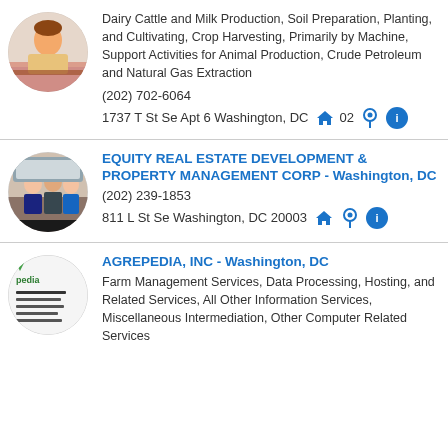[Figure (photo): Circular thumbnail photo of a woman at a desk]
Dairy Cattle and Milk Production, Soil Preparation, Planting, and Cultivating, Crop Harvesting, Primarily by Machine, Support Activities for Animal Production, Crude Petroleum and Natural Gas Extraction
(202) 702-6064
1737 T St Se Apt 6 Washington, DC [home icon][pin icon]02[info icon]
[Figure (photo): Circular thumbnail photo of business people]
EQUITY REAL ESTATE DEVELOPMENT & PROPERTY MANAGEMENT CORP - Washington, DC
(202) 239-1853
811 L St Se Washington, DC 20003
[Figure (photo): Circular thumbnail with Agrepedia logo]
AGREPEDIA, INC - Washington, DC
Farm Management Services, Data Processing, Hosting, and Related Services, All Other Information Services, Miscellaneous Intermediation, Other Computer Related Services